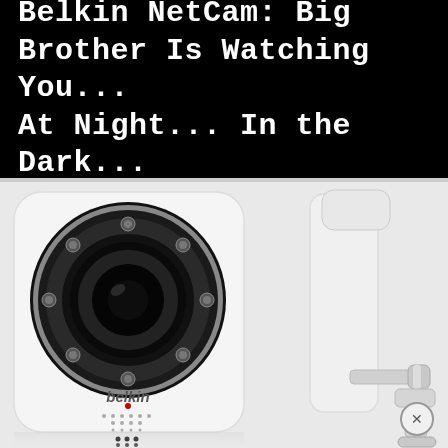Belkin NetCam: Big Brother Is Watching You... At Night... In the Dark...
[Figure (photo): Front and side view of Belkin NetCam security camera. Left shows front face with large circular lens surrounded by IR LEDs, speaker grille dots, and Belkin logo. Right shows side profile with mounting bracket arm and wall mount base.]